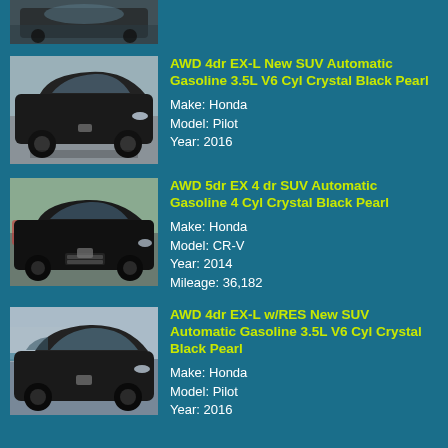[Figure (photo): Partial top of a black Honda SUV photo, cropped at top of page]
AWD 4dr EX-L New SUV Automatic Gasoline 3.5L V6 Cyl Crystal Black Pearl
Make: Honda
Model: Pilot
Year: 2016
[Figure (photo): Black Honda CR-V SUV parked in a lot, front 3/4 view]
AWD 5dr EX 4 dr SUV Automatic Gasoline 4 Cyl Crystal Black Pearl
Make: Honda
Model: CR-V
Year: 2014
Mileage: 36,182
[Figure (photo): Black Honda Pilot SUV parked in a lot, front 3/4 view]
AWD 4dr EX-L w/RES New SUV Automatic Gasoline 3.5L V6 Cyl Crystal Black Pearl
Make: Honda
Model: Pilot
Year: 2016